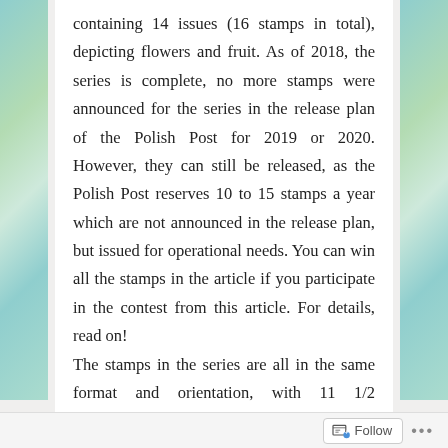containing 14 issues (16 stamps in total), depicting flowers and fruit. As of 2018, the series is complete, no more stamps were announced for the series in the release plan of the Polish Post for 2019 or 2020. However, they can still be released, as the Polish Post reserves 10 to 15 stamps a year which are not announced in the release plan, but issued for operational needs. You can win all the stamps in the article if you participate in the contest from this article. For details, read on!
The stamps in the series are all in the same format and orientation, with 11 1/2 perforation. They were issued irregularly and have face values ranging from 0.05zł to 10zł (approx. 0.01EUR to 2.3EUR). The Polish popular name of the flower is given, as well as the Latin name. All
Follow ···